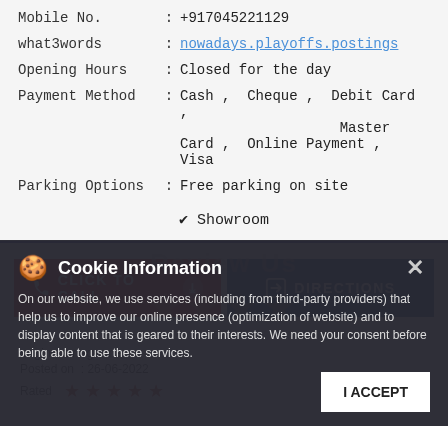| Mobile No. | : | +917045221129 |
| what3words | : | nowadays.playoffs.postings |
| Opening Hours | : | Closed for the day |
| Payment Method | : | Cash , Cheque , Debit Card , Master Card , Online Payment , Visa |
| Parking Options | : | Free parking on site |
✔ Showroom
CLICK TO CALL
DIRECTIONS
Cookie Information
On our website, we use services (including from third-party providers) that help us to improve our online presence (optimization of website) and to display content that is geared to their interests. We need your consent before being able to use these services.
saginela naganna
Posted on : 26-06-2022
Rated ★★★★★
I ACCEPT